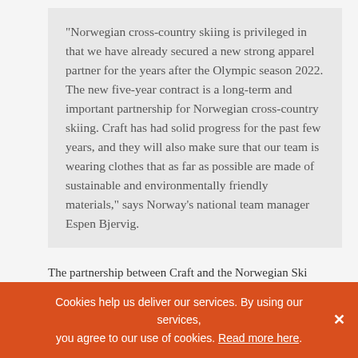"Norwegian cross-country skiing is privileged in that we have already secured a new strong apparel partner for the years after the Olympic season 2022. The new five-year contract is a long-term and important partnership for Norwegian cross-country skiing. Craft has had solid progress for the past few years, and they will also make sure that our team is wearing clothes that as far as possible are made of sustainable and environmentally friendly materials," says Norway's national team manager Espen Bjervig.
The partnership between Craft and the Norwegian Ski Federation begins in 2022 and will last for at least five years.
Cookies help us deliver our services. By using our services, you agree to our use of cookies. Read more here.